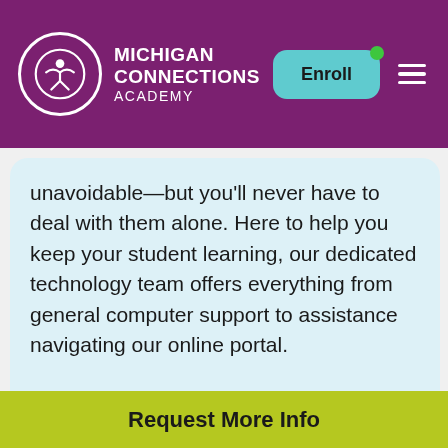Michigan Connections Academy | Enroll
unavoidable—but you'll never have to deal with them alone. Here to help you keep your student learning, our dedicated technology team offers everything from general computer support to assistance navigating our online portal.
Request Support
[Figure (photo): Person with curly hair, partial view from below, background with blurred room]
Request More Info